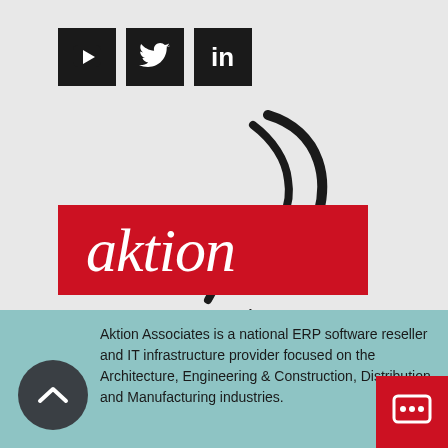[Figure (logo): Aktion Associates, Inc. logo with swoosh, red bar with italic 'aktion' text, and social media icons (YouTube, Twitter, LinkedIn)]
Aktion Associates is a national ERP software reseller and IT infrastructure provider focused on the Architecture, Engineering & Construction, Distribution and Manufacturing industries.